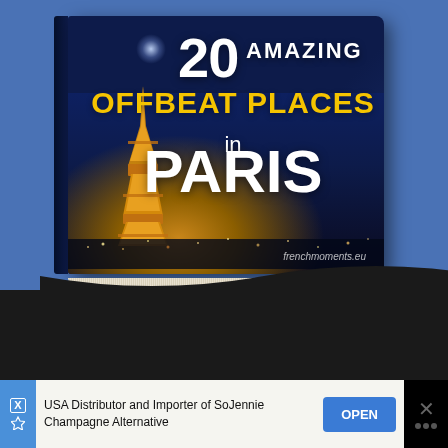[Figure (illustration): Book cover illustration showing '20 Amazing Offbeat Places in Paris' with an image of the Eiffel Tower lit up at night against a dark blue city skyline background. The book has a dark navy blue cover with white and yellow text, displayed on a blue background. URL frenchmoments.eu shown at the bottom right of the book.]
~ FIN ~
Bravo! By scrolling down to this point, you have officially browsed the entire website of French Moments! :)
[Figure (screenshot): Advertisement banner: USA Distributor and Importer of SoJennie Champagne Alternative. Blue OPEN button on the right. Close (X) button on the far right on black background.]